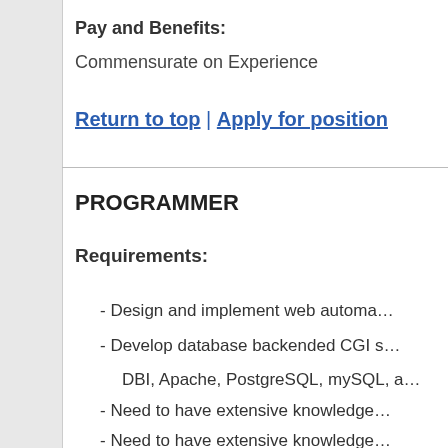Pay and Benefits: Commensurate on Experience
Return to top | Apply for position
PROGRAMMER
Requirements:
- Design and implement web automa…
- Develop database backended CGI s… DBI, Apache, PostgreSQL, mySQL, a…
- Need to have extensive knowledge…
- Need to have extensive knowledge…